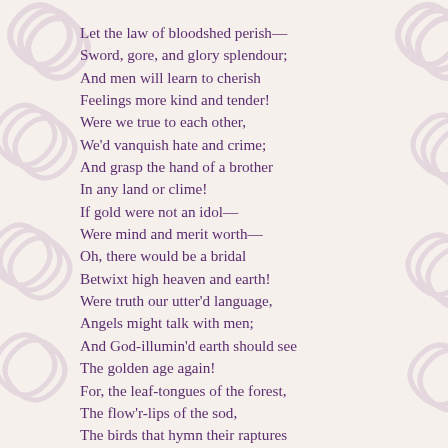Let the law of bloodshed perish—
Sword, gore, and glory splendour;
And men will learn to cherish
Feelings more kind and tender!
Were we true to each other,
We'd vanquish hate and crime;
And grasp the hand of a brother
In any land or clime!
If gold were not an idol—
Were mind and merit worth—
Oh, there would be a bridal
Betwixt high heaven and earth!
Were truth our utter'd language,
Angels might talk with men;
And God-illumin'd earth should see
The golden age again!
For, the leaf-tongues of the forest,
The flow'r-lips of the sod,
The birds that hymn their raptures
Into the ear of God!

And the sweet wind that bringeth
The music of the sea,
All have a voice that singeth